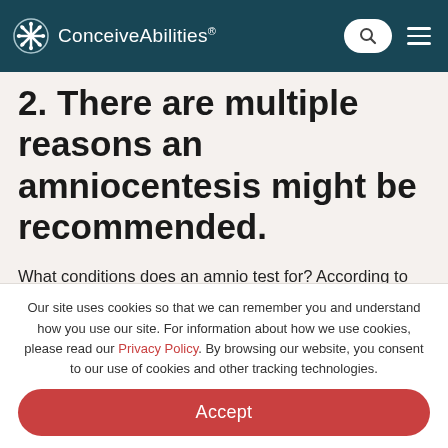ConceiveAbilities
2. There are multiple reasons an amniocentesis might be recommended.
What conditions does an amnio test for? According to the Mayo Clinic, they generally include:
Our site uses cookies so that we can remember you and understand how you use our site. For information about how we use cookies, please read our Privacy Policy. By browsing our website, you consent to our use of cookies and other tracking technologies.
Accept